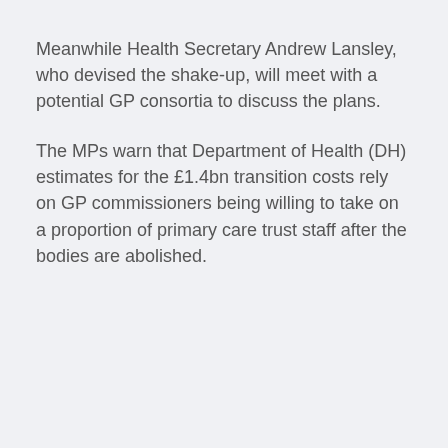Meanwhile Health Secretary Andrew Lansley, who devised the shake-up, will meet with a potential GP consortia to discuss the plans.
The MPs warn that Department of Health (DH) estimates for the £1.4bn transition costs rely on GP commissioners being willing to take on a proportion of primary care trust staff after the bodies are abolished.